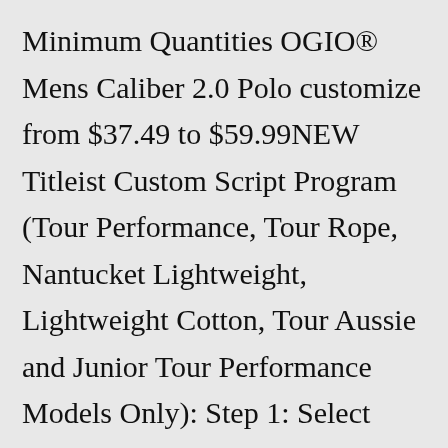Minimum Quantities OGIO® Mens Caliber 2.0 Polo customize from $37.49 to $59.99NEW Titleist Custom Script Program (Tour Performance, Tour Rope, Nantucket Lightweight, Lightweight Cotton, Tour Aussie and Junior Tour Performance Models Only): Step 1: Select Model. Step 2: Choose your script color. Step 2: Choose your script outline color (optional) Personalized Golf Tees. 18 Custom Golf Tees Roll With Name Printing. No...